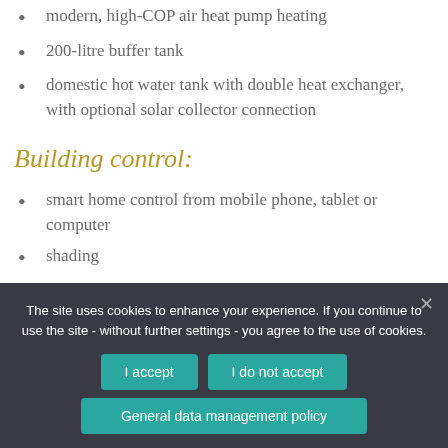modern, high-COP air heat pump heating
200-litre buffer tank
domestic hot water tank with double heat exchanger, with optional solar collector connection
Building control:
smart home control from mobile phone, tablet or computer
shading
heating control
The site uses cookies to enhance your experience. If you continue to use the site - without further settings - you agree to the use of cookies.
I accept | I do not accept | General data management policy